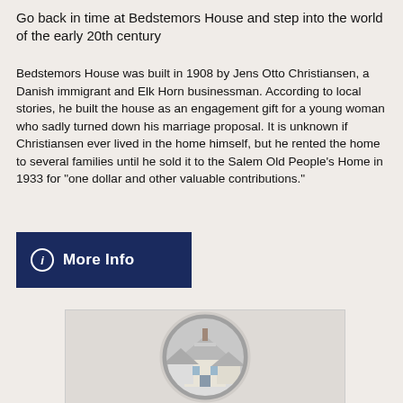Go back in time at Bedstemors House and step into the world of the early 20th century
Bedstemors House was built in 1908 by Jens Otto Christiansen, a Danish immigrant and Elk Horn businessman. According to local stories, he built the house as an engagement gift for a young woman who sadly turned down his marriage proposal. It is unknown if Christiansen ever lived in the home himself, but he rented the home to several families until he sold it to the Salem Old People’s Home in 1933 for “one dollar and other valuable contributions.”
[Figure (other): A dark navy blue button/banner with an italic 'i' icon in a circle and bold white text 'More Info']
[Figure (photo): A circular framed photograph of a Victorian-style house with snow-covered rooftops and gabled dormers, shown in a round metallic-bordered frame]